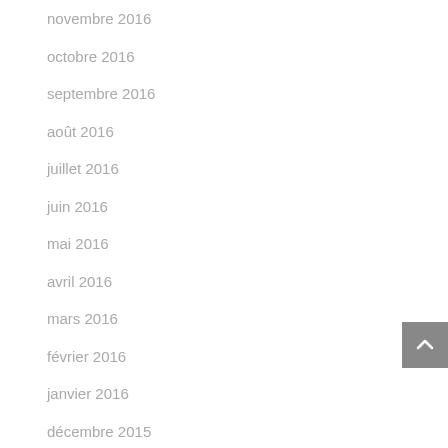novembre 2016
octobre 2016
septembre 2016
août 2016
juillet 2016
juin 2016
mai 2016
avril 2016
mars 2016
février 2016
janvier 2016
décembre 2015
novembre 2015
octobre 2015
septembre 2015